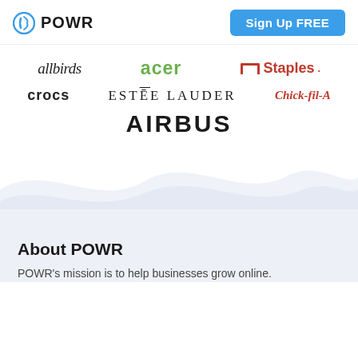POWR | Sign Up FREE
[Figure (logo): Brand logos: allbirds, acer, Staples, crocs, ESTEE LAUDER, Chick-fil-A, AIRBUS]
[Figure (illustration): Wave divider background transitioning from white to light blue-grey]
About POWR
POWR's mission is to help businesses grow online.